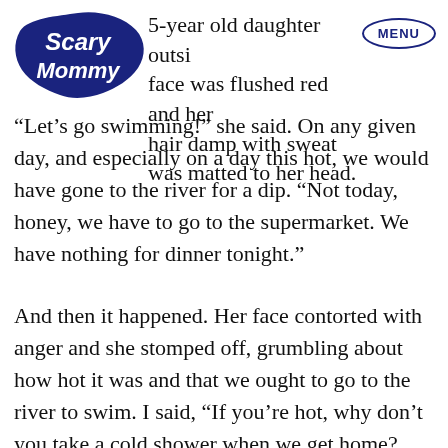[Figure (logo): Scary Mommy logo in dark navy blue, stylized text in a cloud/bubble shape]
5-year old daughter outside face was flushed red and her hair damp with sweat was matted to her head. “Let’s go swimming!” she said. On any given day, and especially on a day this hot, we would have gone to the river for a dip. “Not today, honey, we have to go to the supermarket. We have nothing for dinner tonight.”
And then it happened. Her face contorted with anger and she stomped off, grumbling about how hot it was and that we ought to go to the river to swim. I said, “If you’re hot, why don’t you take a cold shower when we get home? You